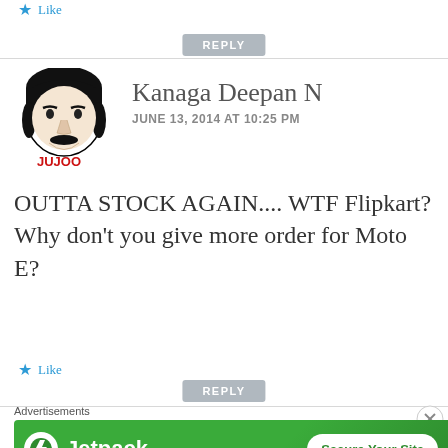Like
REPLY
[Figure (illustration): Avatar illustration of a man with black hair and mustache, with red text JUJOO at the bottom]
Kanaga Deepan N
JUNE 13, 2014 AT 10:25 PM
OUTTA STOCK AGAIN.... WTF Flipkart? Why don’t you give more order for Moto E?
Like
REPLY
Advertisements
[Figure (logo): Jetpack advertisement banner with green background, Jetpack logo and Secure Your Site button]